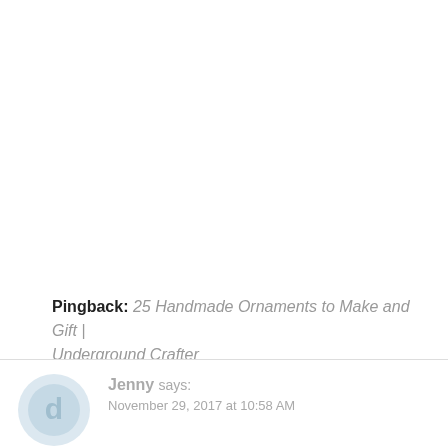Pingback: 25 Handmade Ornaments to Make and Gift | Underground Crafter
Jenny says: November 29, 2017 at 10:58 AM